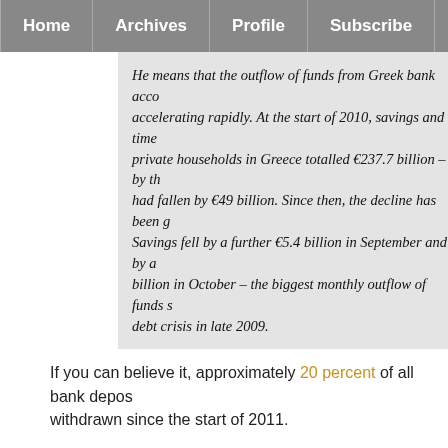Home  Archives  Profile  Subscribe
He means that the outflow of funds from Greek bank accounts is accelerating rapidly. At the start of 2010, savings and time deposits of private households in Greece totalled €237.7 billion – by th... had fallen by €49 billion. Since then, the decline has been g... Savings fell by a further €5.4 billion in September and by a... billion in October – the biggest monthly outflow of funds s... debt crisis in late 2009.
If you can believe it, approximately 20 percent of all bank deposits have been withdrawn since the start of 2011.
Europe is in a massive amount of trouble. The euro is dropping... European financial system is paralyzed by panic and fear.
It is going to take a miracle to prevent a massive financial collapse in Europe in 2012.
Unfortunately, there do not appear to be any miracles for Europe...
COMMENTARY: This does not look good. Right now total con... government debt as about the same as the U.S. ($14.7 trillion a...